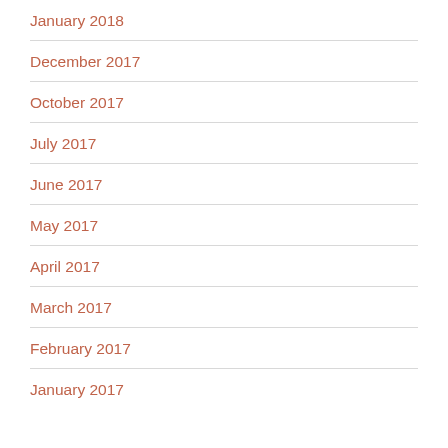January 2018
December 2017
October 2017
July 2017
June 2017
May 2017
April 2017
March 2017
February 2017
January 2017